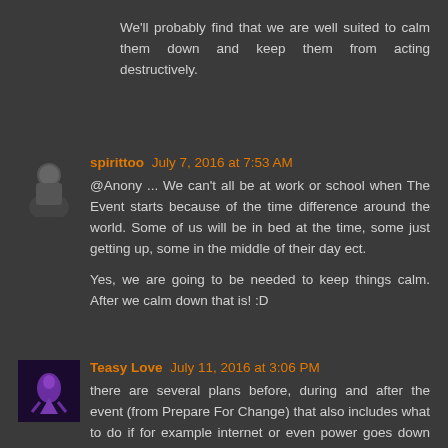We'll probably find that we are well suited to calm them down and keep them from acting destructively.
spirittoo July 7, 2016 at 7:53 AM
@Anony ... We can't all be at work or school when The Event starts because of the time difference around the world. Some of us will be in bed at the time, some just getting up, some in the middle of their day ect.

Yes, we are going to be needed to keep things calm. After we calm down that is! :D
Teasy Love July 11, 2016 at 3:06 PM
there are several plans before, during and after the event (from Prepare For Change) that also includes what to do if for example internet or even power goes down temporarily.